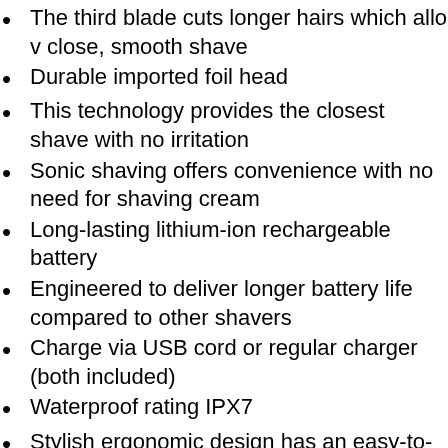The third blade cuts longer hairs which allows close, smooth shave
Durable imported foil head
This technology provides the closest shave with no irritation
Sonic shaving offers convenience with no need for shaving cream
Long-lasting lithium-ion rechargeable battery
Engineered to deliver longer battery life compared to other shavers
Charge via USB cord or regular charger (both included)
Waterproof rating IPX7
Stylish ergonomic design has an easy-to-grip handle for added comfort
Available in Black or Grey
What's Included?
1 x Head & Shaving blade/cutter